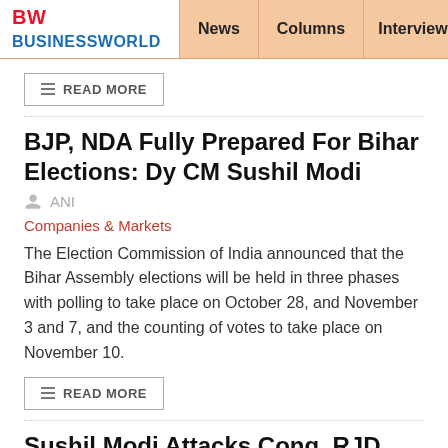BW BUSINESSWORLD | News | Columns | Interviews | BW
READ MORE
BJP, NDA Fully Prepared For Bihar Elections: Dy CM Sushil Modi
ANI
Companies & Markets
The Election Commission of India announced that the Bihar Assembly elections will be held in three phases with polling to take place on October 28, and November 3 and 7, and the counting of votes to take place on November 10.
READ MORE
Sushil Modi Attacks Cong, RJD Over RS